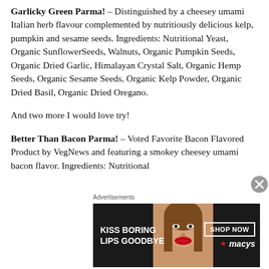Garlicky Green Parma! – Distinguished by a cheesey umami Italian herb flavour complemented by nutritiously delicious kelp, pumpkin and sesame seeds. Ingredients: Nutritional Yeast, Organic SunflowerSeeds, Walnuts, Organic Pumpkin Seeds, Organic Dried Garlic, Himalayan Crystal Salt, Organic Hemp Seeds, Organic Sesame Seeds, Organic Kelp Powder, Organic Dried Basil, Organic Dried Oregano.
And two more I would love try!
Better Than Bacon Parma! – Voted Favorite Bacon Flavored Product by VegNews and featuring a smokey cheesey umami bacon flavor. Ingredients: Nutritional
[Figure (other): Advertisement banner for Macy's cosmetics: 'KISS BORING LIPS GOODBYE' with a model and SHOP NOW button and Macy's logo]